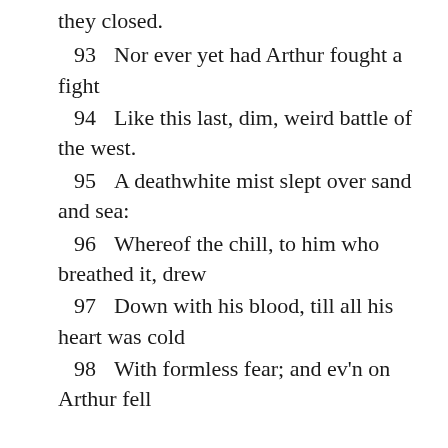they closed.
93    Nor ever yet had Arthur fought a fight
94    Like this last, dim, weird battle of the west.
95    A deathwhite mist slept over sand and sea:
96    Whereof the chill, to him who breathed it, drew
97    Down with his blood, till all his heart was cold
98    With formless fear; and ev'n on Arthur fell